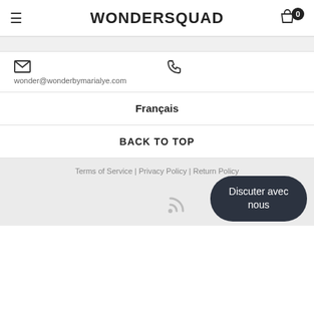WONDERSQUAD
wonder@wonderbymarialye.com
Français
BACK TO TOP
Terms of Service | Privacy Policy | Return Policy
Discuter avec nous